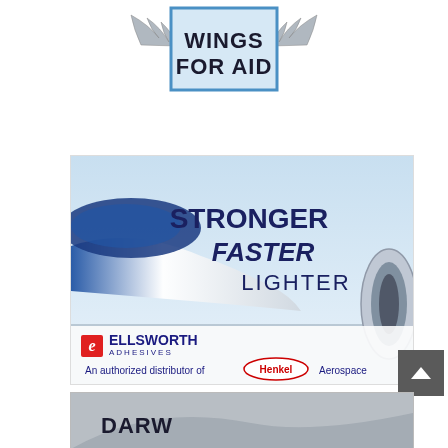[Figure (logo): Wings For Aid logo with wing graphics and text in a blue-bordered box]
[Figure (illustration): Ellsworth Adhesives advertisement showing an airplane with text STRONGER FASTER LIGHTER and Ellsworth Adhesives logo, authorized distributor of Henkel Aerospace]
[Figure (illustration): Partial view of another advertisement at the bottom of the page, partially cropped]